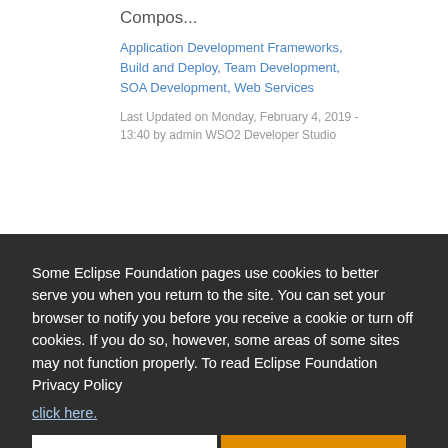Compos...
Application Development Frameworks, Build and Deploy, Team Development, SOA Development, Web Services
Last Updated on Monday, February 4, 2019 - 13:40 by admin WSO2 Developer Studio
Some Eclipse Foundation pages use cookies to better serve you when you return to the site. You can set your browser to notify you before you receive a cookie or turn off cookies. If you do so, however, some areas of some sites may not function properly. To read Eclipse Foundation Privacy Policy click here.
Decline
Allow cookies
to
Services, Internet of Things (IoT), Mo...